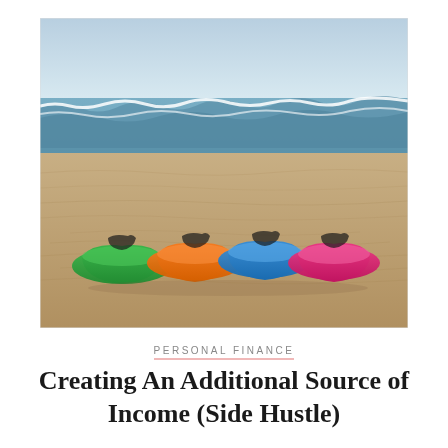[Figure (photo): Four people lying in colorful inflatable loungers (green, orange, blue, pink) on a sandy beach with ocean waves in the background]
PERSONAL FINANCE
Creating An Additional Source of Income (Side Hustle)